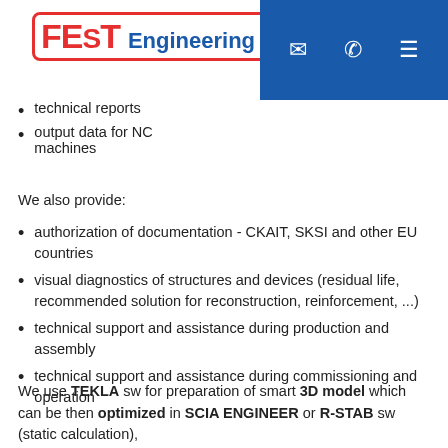[Figure (logo): FEST Engineering Ltd. logo with red text and border, alongside blue navigation bar with email, phone, and menu icons]
technical reports
output data for NC machines
We also provide:
authorization of documentation - CKAIT, SKSI and other EU countries
visual diagnostics of structures and devices (residual life, recommended solution for reconstruction, reinforcement, ...)
technical support and assistance during production and assembly
technical support and assistance during commissioning and operation
We use TEKLA sw for preparation of smart 3D model which can be then optimized in SCIA ENGINEER or R-STAB sw (static calculation),